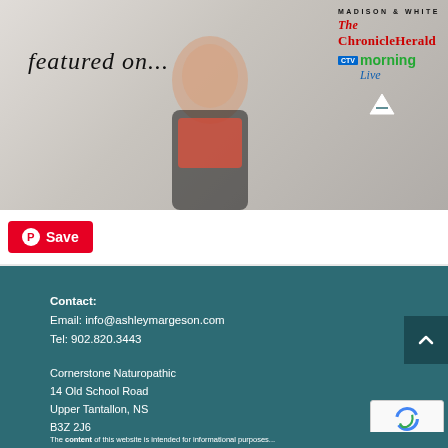[Figure (photo): Hero banner showing a smiling woman in a black blazer and red top seated on a couch, with 'featured on...' text in cursive on the left, and media logos (Madison & White, The Chronicle Herald, CTV Morning Live, and another logo) on the upper right.]
[Figure (other): Pinterest Save button with red background and Pinterest icon]
Contact:
Email: info@ashleymargeson.com
Tel: 902.820.3443
Cornerstone Naturopathic
14 Old School Road
Upper Tantallon, NS
B3Z 2J6

Yarmouth:
453 Brooklyn Rd
By Appointment Only
The content of this website is intended for informational purposes...